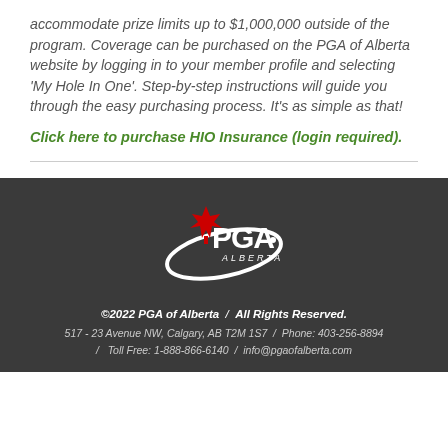accommodate prize limits up to $1,000,000 outside of the program. Coverage can be purchased on the PGA of Alberta website by logging in to your member profile and selecting 'My Hole In One'. Step-by-step instructions will guide you through the easy purchasing process. It's as simple as that!
Click here to purchase HIO Insurance (login required).
[Figure (logo): PGA of Alberta logo — white swoosh/oval with red maple leaf and white 'PGA' text with 'ALBERTA' below]
©2022 PGA of Alberta / All Rights Reserved. 517 - 23 Avenue NW, Calgary, AB T2M 1S7 / Phone: 403-256-8894 / Toll Free: 1-888-866-6140 / info@pgaofalberta.com